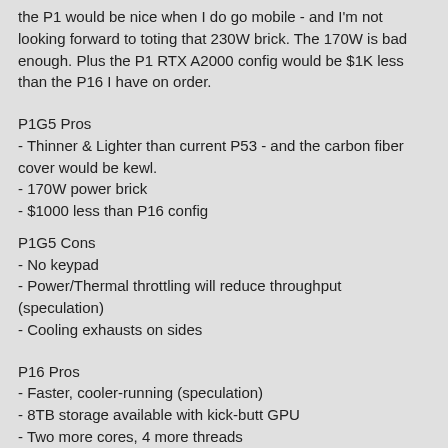the P1 would be nice when I do go mobile - and I'm not looking forward to toting that 230W brick. The 170W is bad enough. Plus the P1 RTX A2000 config would be $1K less than the P16 I have on order.
P1G5 Pros
- Thinner & Lighter than current P53 - and the carbon fiber cover would be kewl.
- 170W power brick
- $1000 less than P16 config
P1G5 Cons
- No keypad
- Power/Thermal throttling will reduce throughput (speculation)
- Cooling exhausts on sides
P16 Pros
- Faster, cooler-running (speculation)
- 8TB storage available with kick-butt GPU
- Two more cores, 4 more threads
- Keypad
- Can upgrade to 128GB if needed in the future
- Cooling exhausts out back
P16 Cons